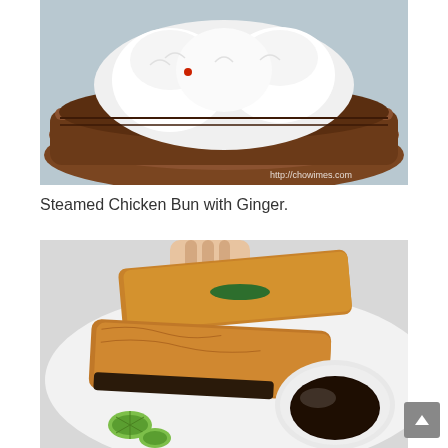[Figure (photo): Steamed chicken buns in a bamboo steamer basket, white fluffy buns with a small red decoration on top, watermark reads http://chowimes.com]
Steamed Chicken Bun with Ginger.
[Figure (photo): Fried pastry rolls served on a white plate with a small bowl of dark dipping sauce and cucumber garnish, a hand is visible picking up one of the rolls]